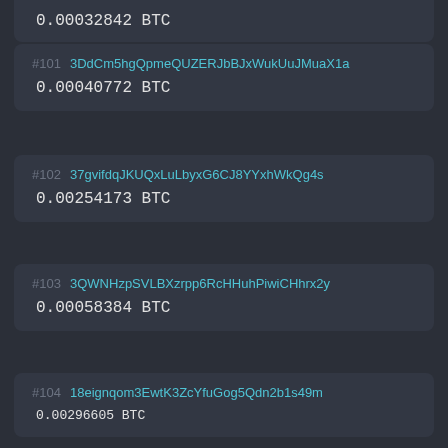0.00032842 BTC
#101 3DdCm5hgQpmeQUZERJbBJxWukUuJMuaX1a 0.00040772 BTC
#102 37gvifdqJKUQxLuLbyxG6CJ8YYxhWkQg4s 0.00254173 BTC
#103 3QWNHzpSVLBXzrpp6RcHHuhPiwiCHhrx2y 0.00058384 BTC
#104 18eignqom3EwtK3ZcYfuGog5Qdn2b1s49m 0.00296605 BTC
#105 14tGda88DyTHB6PAUfnJLZHyWpLhCsfPNg